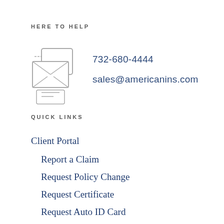HERE TO HELP
[Figure (illustration): Icon of overlapping envelope/mail and document frames, drawn in light gray outline style]
732-680-4444
sales@americanins.com
QUICK LINKS
Client Portal
Report a Claim
Request Policy Change
Request Certificate
Request Auto ID Card
Clickable Coverage